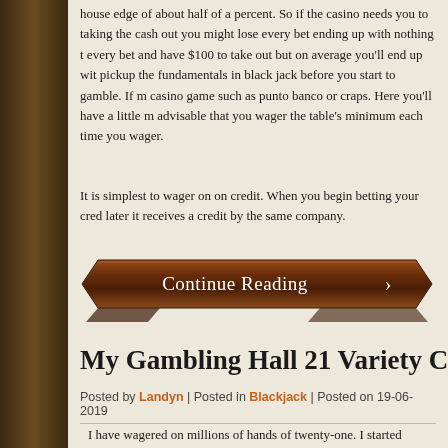house edge of about half of a percent. So if the casino needs you to taking the cash out you might lose every bet ending up with nothing every bet and have $100 to take out but on average you'll end up with pickup the fundamentals in black jack before you start to gamble. If casino game such as punto banco or craps. Here you'll have a little advisable that you wager the table's minimum each time you wager.
It is simplest to wager on on credit. When you begin betting your credit later it receives a credit by the same company.
[Figure (other): Continue Reading button styled as a wooden banner with arrow]
My Gambling Hall 21 Variety Cas
Posted by Landyn | Posted in Blackjack | Posted on 19-06-2019
I have wagered on millions of hands of twenty-one. I started sneaking 16. I have played online chemin de fer, I have counted cards, and wc